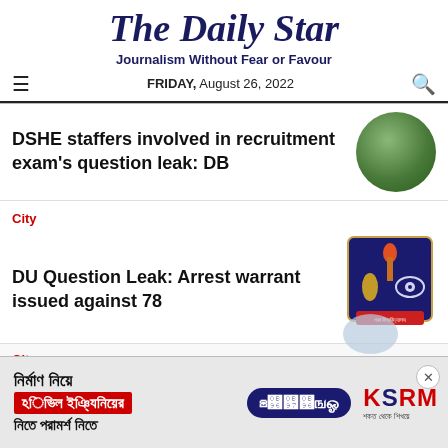The Daily Star
Journalism Without Fear or Favour
FRIDAY, August 26, 2022
DSHE staffers involved in recruitment exam's question leak: DB
City
DU Question Leak: Arrest warrant issued against 78
City
[Figure (other): Advertisement banner for KSRM civil engineering consultation service. Text in Bengali: 'নির্মাণ নিয়ে সিভিল ইঞ্জিনিয়ারের ফ্রি পরামর্শ নিতে' with phone number ০১৬৭৪৯ and KSRM logo.]